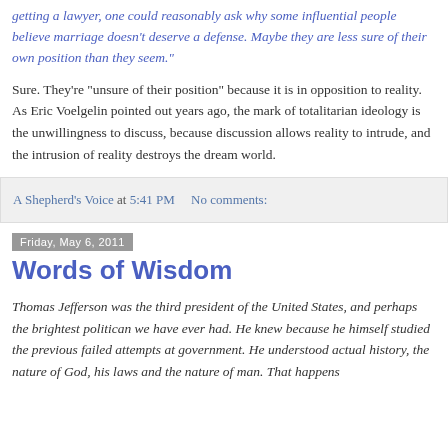getting a lawyer, one could reasonably ask why some influential people believe marriage doesn't deserve a defense. Maybe they are less sure of their own position than they seem."
Sure. They're "unsure of their own position" because it is in opposition to reality. As Eric Voelgelin pointed out years ago, the mark of totalitarian ideology is the unwillingness to discuss, because discussion allows reality to intrude, and the intrusion of reality destroys the dream world.
A Shepherd's Voice at 5:41 PM    No comments:
Friday, May 6, 2011
Words of Wisdom
Thomas Jefferson was the third president of the United States, and perhaps the brightest politican we have ever had. He knew because he himself studied the previous failed attempts at government. He understood actual history, the nature of God, his laws and the nature of man. That happens